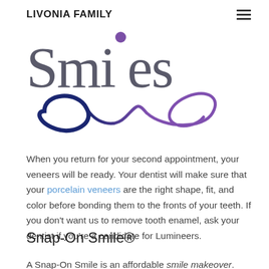LIVONIA FAMILY
[Figure (logo): Livonia Family Smiles logo with stylized 'Smiles' text in gray/purple and an infinity-like swoosh curve in dark blue and purple beneath it]
When you return for your second appointment, your veneers will be ready. Your dentist will make sure that your porcelain veneers are the right shape, fit, and color before bonding them to the fronts of your teeth. If you don't want us to remove tooth enamel, ask your dentist if you're a candidate for Lumineers.
Snap-On Smile®
A Snap-On Smile is an affordable smile makeover. The